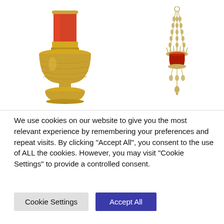[Figure (photo): Two religious sanctuary lamps. Left: a gold/brass pedestal oil lamp with a red glass cylinder on top. Right: a hanging sanctuary lamp with decorative chains and a red glass cup, gold/silver finish.]
We use cookies on our website to give you the most relevant experience by remembering your preferences and repeat visits. By clicking “Accept All”, you consent to the use of ALL the cookies. However, you may visit "Cookie Settings" to provide a controlled consent.
Cookie Settings
Accept All